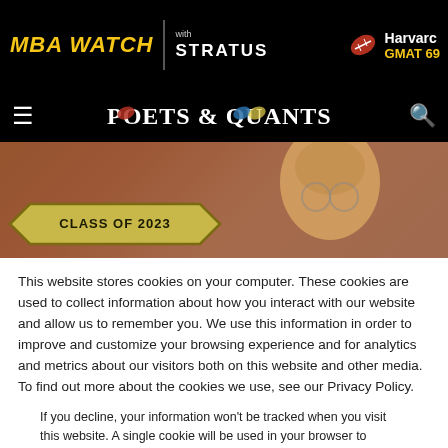[Figure (screenshot): Top navigation bar with MBA WATCH logo, 'with STRATUS' branding, and Harvard football badge with GMAT 69 text on black background]
[Figure (screenshot): Poets & Quants navigation bar on black background with hamburger menu and search icon]
[Figure (photo): Hero image showing a person wearing glasses with 'CLASS OF 2023' badge overlay on brick wall background]
This website stores cookies on your computer. These cookies are used to collect information about how you interact with our website and allow us to remember you. We use this information in order to improve and customize your browsing experience and for analytics and metrics about our visitors both on this website and other media. To find out more about the cookies we use, see our Privacy Policy.
If you decline, your information won't be tracked when you visit this website. A single cookie will be used in your browser to remember your preference not to be tracked.